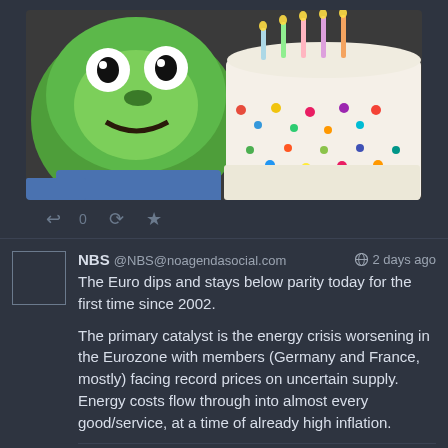[Figure (illustration): Pepe the Frog meme image showing Pepe wearing a blue shirt next to a white birthday cake with colorful polka dots and candles, on a dark background]
↩ 0  ↺  ★
NBS @NBS@noagendasocial.com  2 days ago
The Euro dips and stays below parity today for the first time since 2002.

The primary catalyst is the energy crisis worsening in the Eurozone with members (Germany and France, mostly) facing record prices on uncertain supply. Energy costs flow through into almost every good/service, at a time of already high inflation.